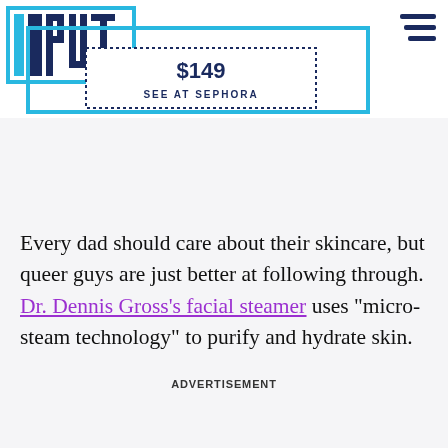[Figure (logo): INPUT magazine logo in cyan/blue block letters with rectangular border]
[Figure (infographic): Price display box showing $149 and SEE AT SEPHORA text inside a dashed/dotted rectangle overlapping a cyan rectangular border graphic]
Every dad should care about their skincare, but queer guys are just better at following through. Dr. Dennis Gross’s facial steamer uses “micro-steam technology” to purify and hydrate skin.
ADVERTISEMENT